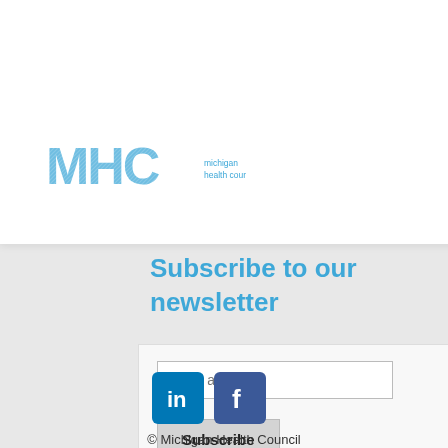...sting ...ning
[Figure (logo): MHC Michigan Health Council logo in light blue]
[Figure (other): Blue circular hamburger menu button with three white lines]
Subscribe to our newsletter
[Figure (other): Email subscription form with email address input field and Subscribe button]
[Figure (other): LinkedIn and Facebook social media icons]
© Michigan Health Council Terms & Conditions